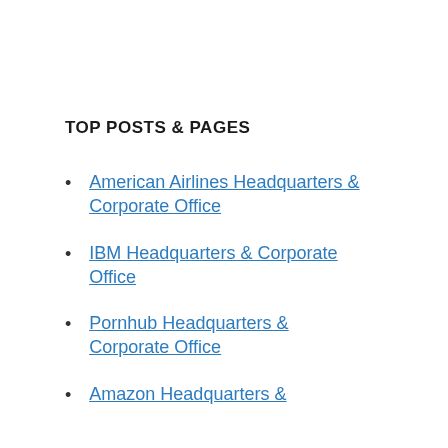TOP POSTS & PAGES
American Airlines Headquarters & Corporate Office
IBM Headquarters & Corporate Office
Pornhub Headquarters & Corporate Office
Amazon Headquarters &